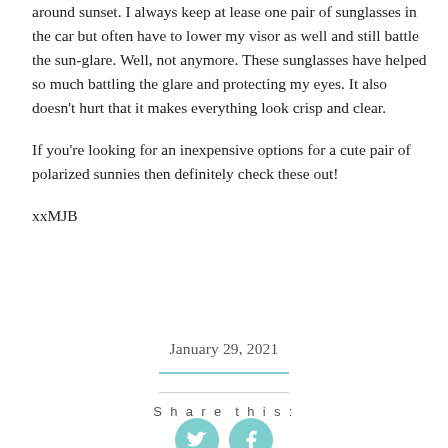around sunset. I always keep at lease one pair of sunglasses in the car but often have to lower my visor as well and still battle the sun-glare. Well, not anymore. These sunglasses have helped so much battling the glare and protecting my eyes. It also doesn't hurt that it makes everything look crisp and clear.
If you're looking for an inexpensive options for a cute pair of polarized sunnies then definitely check these out!
xxMJB
January 29, 2021
Share this:
[Figure (infographic): Two teal circular social media icons: Twitter bird icon and Facebook 'f' icon, followed by a Like button with a star icon and an orange OG logo square]